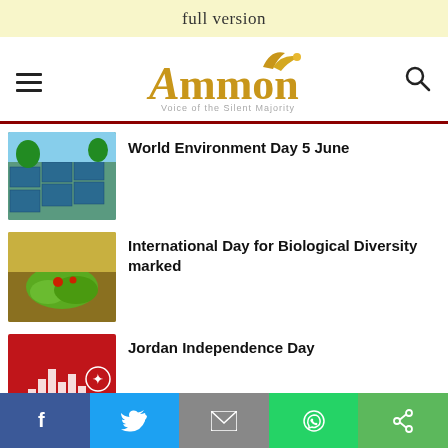full version
[Figure (logo): Ammon News logo with tagline 'Voice of the Silent Majority', hamburger menu icon and search icon]
[Figure (photo): Solar panels with person cleaning them, for World Environment Day article]
World Environment Day 5 June
[Figure (photo): Green leaf with colorful background, for International Day for Biological Diversity article]
International Day for Biological Diversity marked
[Figure (photo): Red background with bar chart graphic for Jordan Independence Day article]
Jordan Independence Day
Social sharing bar: Facebook, Twitter, Email, WhatsApp, Share